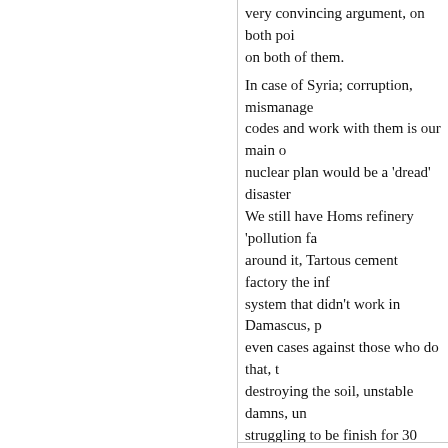very convincing argument, on both points, on both of them. In case of Syria; corruption, mismanage codes and work with them is our main c nuclear plan would be a 'dread' disaster We still have Homs refinery 'pollution fa around it, Tartous cement factory the in system that didn't work in Damascus, p even cases against those who do that, destroying the soil, unstable damns, un struggling to be finish for 30 years....(w putting such dangerous technology in th endless 'incidents'? it will be ABOU AHM

I totaly agree with you about the Iranina outstanding work and I envy them. Irani education, they know what they want, o invest in a sustainable and bright future 60s maybe 70s of the last century and n

No nuclear for you Abou Ahmad, for you

I just remember, all our opinions doesn' what is their opinion on Nuclear power,
March 13th, 2010, 7:03 pm
ALEX said:

Nour and Norman,

You know how hard line I am in general anything. Syria's vision for a solution to